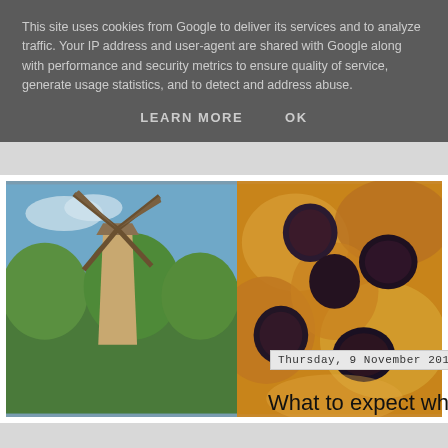This site uses cookies from Google to deliver its services and to analyze traffic. Your IP address and user-agent are shared with Google along with performance and security metrics to ensure quality of service, generate usage statistics, and to detect and address abuse.
LEARN MORE    OK
[Figure (photo): Photo of a windmill surrounded by green trees under a blue sky (left image)]
[Figure (photo): Close-up photo of food — pastry with figs or similar dark fruit on golden dough (right image)]
Thursday, 9 November 201
What to expect when y